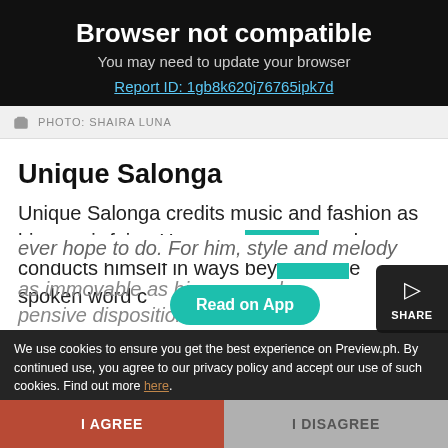Browser not compatible
You may need to update your browser
Report ID: 1gb8k620j76765ipk7d
PHOTO: SHAIRA LUNA
Unique Salonga
Unique Salonga credits music and fashion as his savoir-faire. He communicates and conducts himself in ways beyond the spoken word c ever hope to do. For him, style and melody as immovable as his reserved, pensive disposition
Read on App
SHARE
We use cookies to ensure you get the best experience on Preview.ph. By continued use, you agree to our privacy policy and accept our use of such cookies. Find out more here.
I AGREE
I DISAGREE